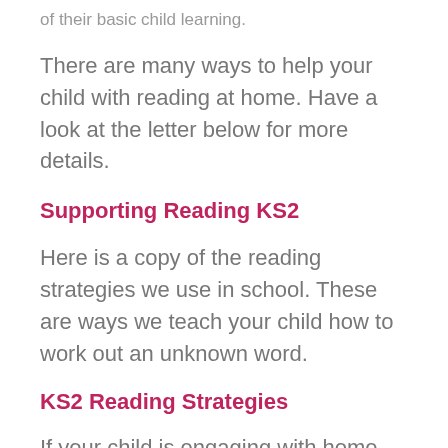of their basic child learning.
There are many ways to help your child with reading at home. Have a look at the letter below for more details.
Supporting Reading KS2
Here is a copy of the reading strategies we use in school. These are ways we teach your child how to work out an unknown word.
KS2 Reading Strategies
If your child is engaging with home